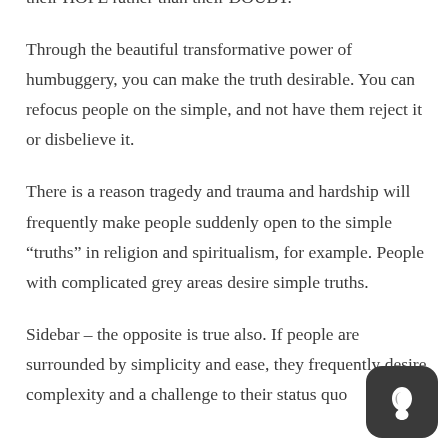their HOPE rather than their DOUBT.
Through the beautiful transformative power of humbuggery, you can make the truth desirable. You can refocus people on the simple, and not have them reject it or disbelieve it.
There is a reason tragedy and trauma and hardship will frequently make people suddenly open to the simple “truths” in religion and spiritualism, for example. People with complicated grey areas desire simple truths.
Sidebar – the opposite is true also. If people are surrounded by simplicity and ease, they frequently desire complexity and a challenge to their status quo